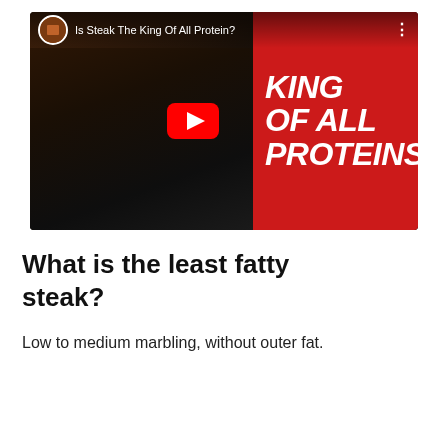[Figure (screenshot): YouTube video thumbnail showing raw steaks with mortar and pestle on a dark background. Right side has a red panel with bold italic white text reading 'KING OF ALL PROTEINS?'. A YouTube play button is centered. Top bar shows channel avatar and title 'Is Steak The King Of All Protein?']
What is the least fatty steak?
Low to medium marbling, without outer fat.